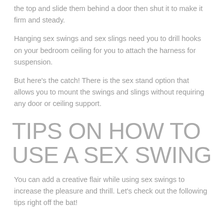the top and slide them behind a door then shut it to make it firm and steady.
Hanging sex swings and sex slings need you to drill hooks on your bedroom ceiling for you to attach the harness for suspension.
But here's the catch! There is the sex stand option that allows you to mount the swings and slings without requiring any door or ceiling support.
TIPS ON HOW TO USE A SEX SWING
You can add a creative flair while using sex swings to increase the pleasure and thrill. Let's check out the following tips right off the bat!